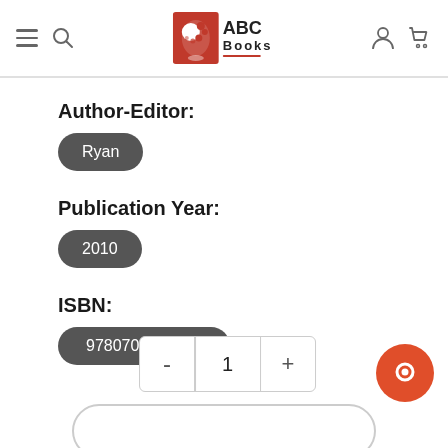ABC Books
Author-Editor:
Ryan
Publication Year:
2010
ISBN:
9780702029714